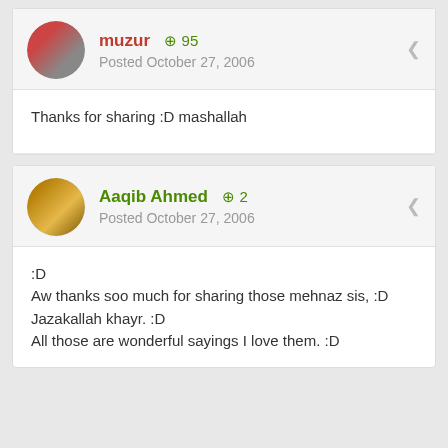muzur +95 Posted October 27, 2006
Thanks for sharing :D mashallah
Aaqib Ahmed +2 Posted October 27, 2006
:D
Aw thanks soo much for sharing those mehnaz sis, :D
Jazakallah khayr. :D
All those are wonderful sayings I love them. :D